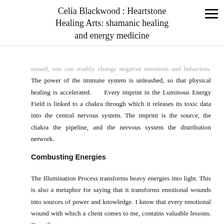Celia Blackwood : Heartstone Healing Arts: shamanic healing and energy medicine
erased, one can readily change negative emotions and behaviors. The power of the immune system is unleashed, so that physical healing is accelerated.    Every imprint in the Luminous Energy Field is linked to a chakra through which it releases its toxic data into the central nervous system. The imprint is the source, the chakra the pipeline, and the nervous system the distribution network.
Combusting Energies
The Illumination Process transforms heavy energies into light. This is also a metaphor for saying that it transforms emotional wounds into sources of power and knowledge. I know that every emotional wound with which a client comes to me, contains valuable lessons. Once these